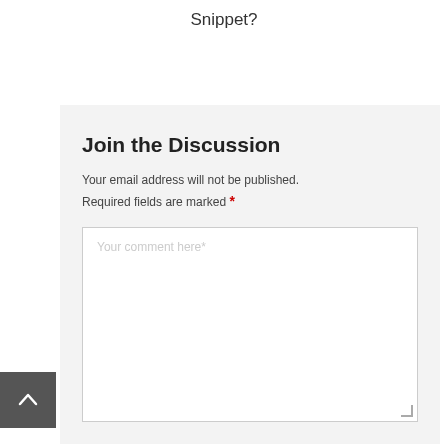Snippet?
Join the Discussion
Your email address will not be published. Required fields are marked *
[Figure (other): Comment text area input box with placeholder text 'Your comment here*']
[Figure (other): Back to top button - dark grey square with upward chevron arrow icon]